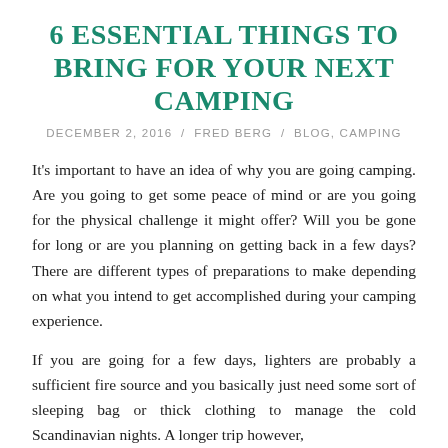6 ESSENTIAL THINGS TO BRING FOR YOUR NEXT CAMPING
DECEMBER 2, 2016 / FRED BERG / BLOG, CAMPING
It's important to have an idea of why you are going camping. Are you going to get some peace of mind or are you going for the physical challenge it might offer? Will you be gone for long or are you planning on getting back in a few days? There are different types of preparations to make depending on what you intend to get accomplished during your camping experience.
If you are going for a few days, lighters are probably a sufficient fire source and you basically just need some sort of sleeping bag or thick clothing to manage the cold Scandinavian nights. A longer trip however,